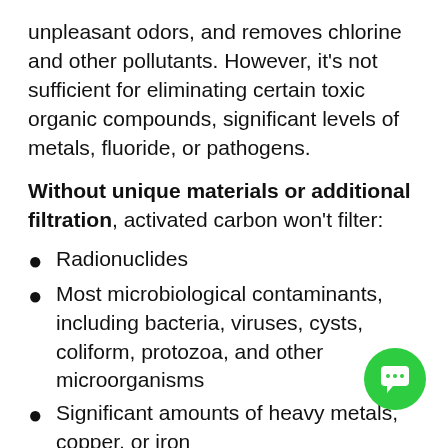unpleasant odors, and removes chlorine and other pollutants. However, it’s not sufficient for eliminating certain toxic organic compounds, significant levels of metals, fluoride, or pathogens.
Without unique materials or additional filtration, activated carbon won’t filter:
Radionuclides
Most microbiological contaminants, including bacteria, viruses, cysts, coliform, protozoa, and other microorganisms
Significant amounts of heavy metals, copper, or iron
Inorganic pollutants like asbestos, and arsenic
Healthy minerals, such as calcium, potassium